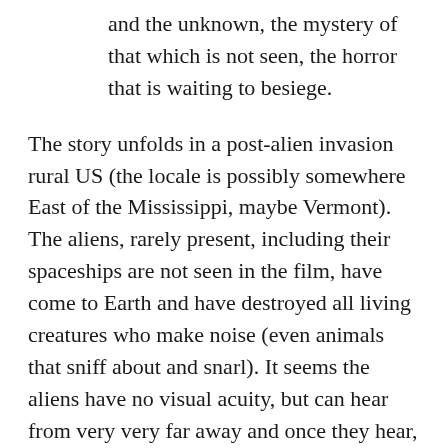and the unknown, the mystery of that which is not seen, the horror that is waiting to besiege.
The story unfolds in a post-alien invasion rural US (the locale is possibly somewhere East of the Mississippi, maybe Vermont). The aliens, rarely present, including their spaceships are not seen in the film, have come to Earth and have destroyed all living creatures who make noise (even animals that sniff about and snarl). It seems the aliens have no visual acuity, but can hear from very very far away and once they hear, they come to kill almost immediately. Those who survive the invasion are attempting a life in silence, including the protagonist family. The audience meets them initially as they tiptoe through a drug store (they are all barefoot) and scavenge for medicine and goods. The audience deduces, this is one town of millions of towns and this is one family